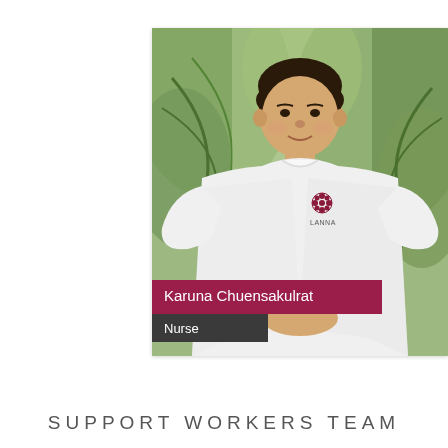[Figure (photo): Professional photo of Karuna Chuensakulrat, a nurse wearing a white polo shirt with a Lanna logo emblem, standing outdoors in front of green palm trees. Name label 'Karuna Chuensakulrat' in white text on dark red/maroon background, and role label 'Nurse' in white text on dark grey background overlaid at the bottom of the photo.]
SUPPORT WORKERS TEAM